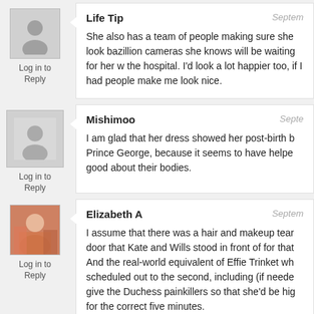Life Tip
Septem
She also has a team of people making sure she look bazillion cameras she knows will be waiting for her w the hospital. I'd look a lot happier too, if I had people make me look nice.
Log in to Reply
Mishimoo
Septe
I am glad that her dress showed her post-birth b Prince George, because it seems to have helpe good about their bodies.
Log in to Reply
Elizabeth A
Septem
I assume that there was a hair and makeup tear door that Kate and Wills stood in front of for that And the real-world equivalent of Effie Trinket wh scheduled out to the second, including (if neede give the Duchess painkillers so that she'd be hig for the correct five minutes.
Log in to Reply